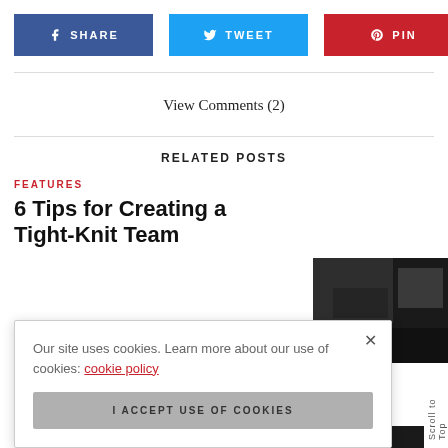[Figure (infographic): Social share buttons row: SHARE (Facebook, dark blue), TWEET (Twitter, light blue), PIN (Pinterest, red)]
View Comments (2)
RELATED POSTS
FEATURES
6 Tips for Creating a Tight-Knit Team
[Figure (photo): Dark blurred thumbnail image]
Our site uses cookies. Learn more about our use of cookies: cookie policy
I ACCEPT USE OF COOKIES
Scroll to Top
FEATURES